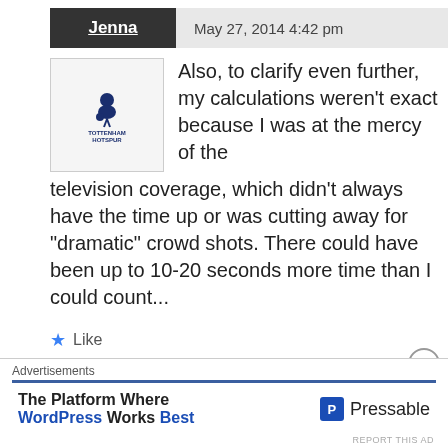Jenna   May 27, 2014 4:42 pm
Also, to clarify even further, my calculations weren't exact because I was at the mercy of the television coverage, which didn't always have the time up or was cutting away for “dramatic” crowd shots. There could have been up to 10-20 seconds more time than I could count...
[Figure (logo): Tottenham Hotspur football club logo with cockerel and text]
Like
Advertisements
The Platform Where WordPress Works Best    Pressable